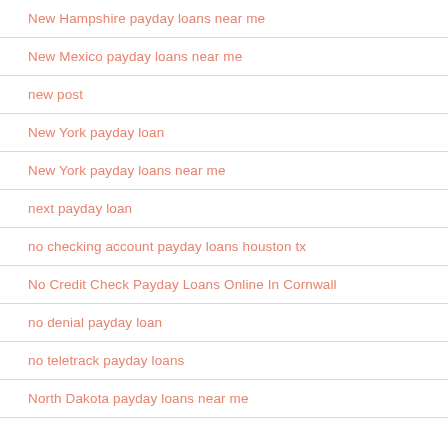New Hampshire payday loans near me
New Mexico payday loans near me
new post
New York payday loan
New York payday loans near me
next payday loan
no checking account payday loans houston tx
No Credit Check Payday Loans Online In Cornwall
no denial payday loan
no teletrack payday loans
North Dakota payday loans near me